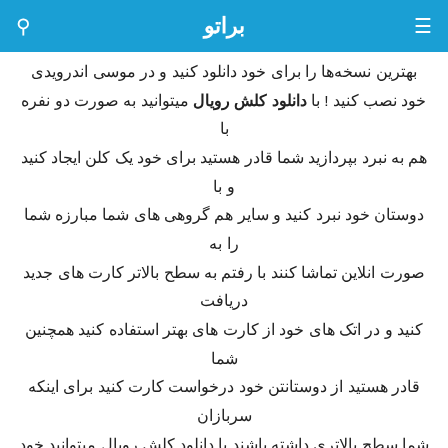براتو
بهترین نسخه‌ها را برای خود دانلود کنید و در موسی اندرویدی خود نصب کنید ! با دانلود کلش رویال میتوانید به صورت دو نفره با هم به نبرد بپردازید شما قادر هستید برای خود یک کلن ایجاد کنید و با دوستان خود نبرد کنید و سایر هم گروهی های شما مبارزه شما را به صورت انلاین تماشا کنند با رفتم به سطح بالاتر کارت های جدید دریافت کنید و در اتک های خود از کارت های بهتر استفاده کنید همچنین شما قادر هستید از دوستانتن خود درخواست کارت کنید برای اینکه سربازان شما سطح بالاتری داشته باشند با دانلود کلش رویال میتوانید خود را برای ساعت ها سرگرم کنید .
قابلیت های بازی Clash Royale کلش رویال :
نمایش برترین افراد بازی
نمایش برترین کلن های موجود در بازی بر اساس امتیاز